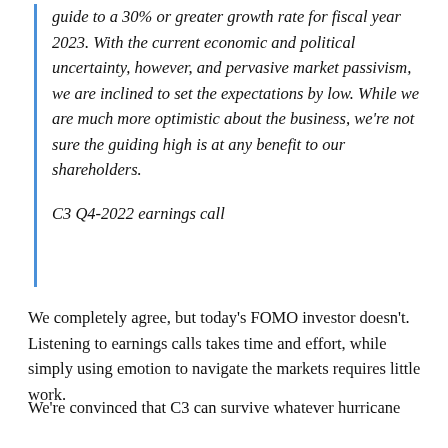guide to a 30% or greater growth rate for fiscal year 2023. With the current economic and political uncertainty, however, and pervasive market passivism, we are inclined to set the expectations by low. While we are much more optimistic about the business, we're not sure the guiding high is at any benefit to our shareholders.
C3 Q4-2022 earnings call
We completely agree, but today's FOMO investor doesn't. Listening to earnings calls takes time and effort, while simply using emotion to navigate the markets requires little work.
We're convinced that C3 can survive whatever hurricane